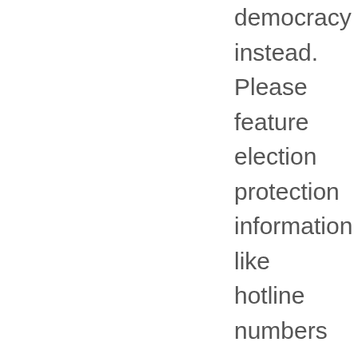democracy instead. Please feature election protection information like hotline numbers on your blog's front page.
And to anybody reading this, please digg the action alert